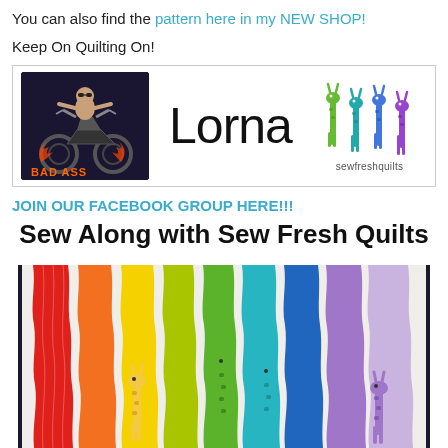You can also find the pattern here in my NEW SHOP!
Keep On Quilting On!
[Figure (logo): Banner image showing 'BAD ASS' biker cartoon logo on left, large 'Lorna' text in center, colorful giraffe icons and 'sewfreshquilts' branding on right]
JOIN OUR FACEBOOK GROUP HERE!!!
Sew Along with Sew Fresh Quilts
[Figure (photo): Colorful rainbow quilt with vertical wavy stripes in red, orange, yellow, green, blue, teal, and purple, with small giraffe appliques at the bottom of several stripes, displayed against a dark background]